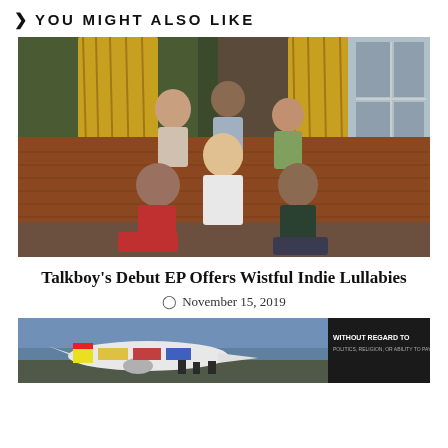❯ You Might Also Like
[Figure (photo): Group photo of a band (Talkboy) posing in front of a golden curtain and brick wall with a window. Multiple band members seated and standing.]
Talkboy's Debut EP Offers Wistful Indie Lullabies
November 15, 2019
[Figure (photo): Advertisement banner showing an airplane on a tarmac with text 'WITHOUT REGARD TO POLITICS, RELIGION, OR ABILITY TO PAY']